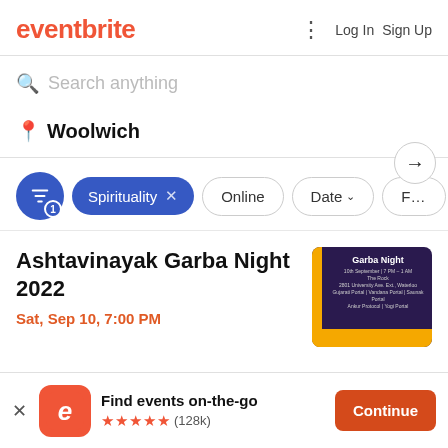[Figure (logo): Eventbrite logo in orange/red color]
Log In  Sign Up
Search anything
Woolwich
Spirituality x
Online
Date
Ashtavinayak Garba Night 2022
Sat, Sep 10, 7:00 PM
[Figure (photo): Garba Night event poster with dark purple background, gold border and text 'Garba Night, 10th September | 7 PM - 1 AM, The Rock, 2801 University Ave. Ext., Waterloo, Gujarati Portal | Vandana Portal | Saunak Portal, Ankur Protocol | Yogi Portal']
Find events on-the-go
★★★★★ (128k)
Continue